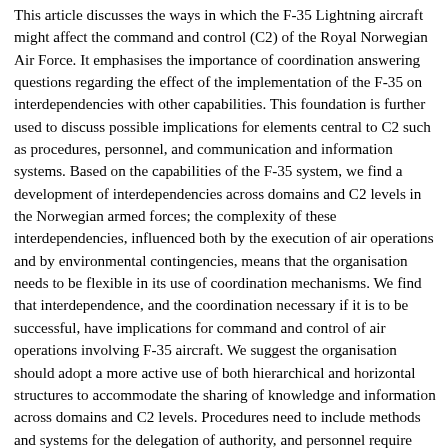This article discusses the ways in which the F-35 Lightning aircraft might affect the command and control (C2) of the Royal Norwegian Air Force. It emphasises the importance of coordination answering questions regarding the effect of the implementation of the F-35 on interdependencies with other capabilities. This foundation is further used to discuss possible implications for elements central to C2 such as procedures, personnel, and communication and information systems. Based on the capabilities of the F-35 system, we find a development of interdependencies across domains and C2 levels in the Norwegian armed forces; the complexity of these interdependencies, influenced both by the execution of air operations and by environmental contingencies, means that the organisation needs to be flexible in its use of coordination mechanisms. We find that interdependence, and the coordination necessary if it is to be successful, have implications for command and control of air operations involving F-35 aircraft. We suggest the organisation should adopt a more active use of both hierarchical and horizontal structures to accommodate the sharing of knowledge and information across domains and C2 levels. Procedures need to include methods and systems for the delegation of authority, and personnel require knowledge of interdependencies and multi-domain operations. Finally, communication and information systems need to be available, interoperable, and robust.